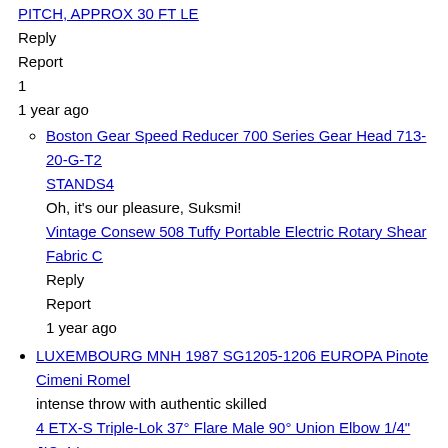PITCH, APPROX 30 FT LE (link)
Reply
Report
1
1 year ago
Boston Gear Speed Reducer 700 Series Gear Head 713-20-G-T2
STANDS4
Oh, it's our pleasure, Suksmi!
Vintage Consew 508 Tuffy Portable Electric Rotary Shear Fabric C
Reply
Report
1 year ago
LUXEMBOURG MNH 1987 SG1205-1206 EUROPA Pinote Cimeni Romel
intense throw with authentic skilled
4 ETX-S Triple-Lok 37° Flare Male 90° Union Elbow 1/4" JIC-4 L
Reply
Report
1 year ago
Wiko ENX AV/Photo Projector Lamp Bulb 82v 360w 2Pack New
Santhosh Varghees